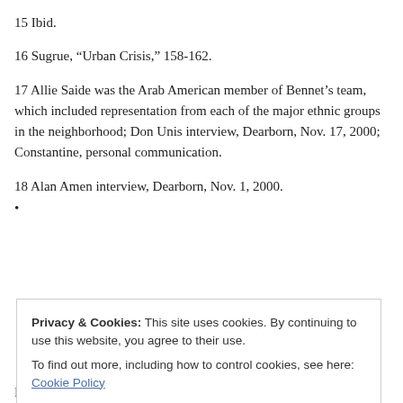15 Ibid.
16 Sugrue, “Urban Crisis,” 158-162.
17 Allie Saide was the Arab American member of Bennet’s team, which included representation from each of the major ethnic groups in the neighborhood; Don Unis interview, Dearborn, Nov. 17, 2000; Constantine, personal communication.
18 Alan Amen interview, Dearborn, Nov. 1, 2000.
•
Privacy & Cookies: This site uses cookies. By continuing to use this website, you agree to their use.
To find out more, including how to control cookies, see here: Cookie Policy
Close and accept
Press, 2000), 103-106.